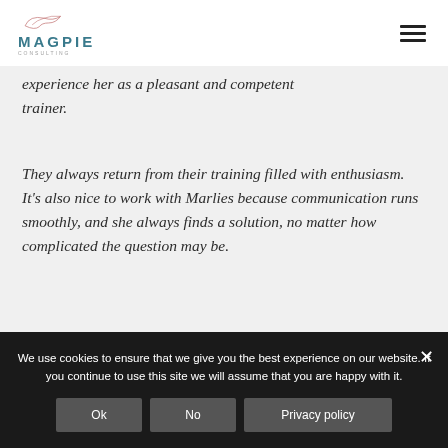MAGPIE CONSULTING
experience her as a pleasant and competent trainer.
They always return from their training filled with enthusiasm. It's also nice to work with Marlies because communication runs smoothly, and she always finds a solution, no matter how complicated the question may be.
Maike Coenen on LinkedIn
We use cookies to ensure that we give you the best experience on our website. If you continue to use this site we will assume that you are happy with it.